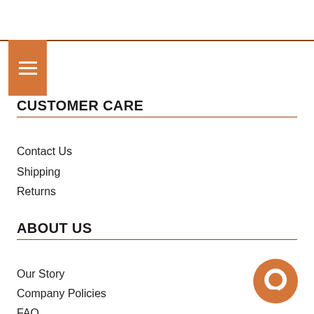[Figure (other): Orange hamburger menu button with three white horizontal lines]
CUSTOMER CARE
Contact Us
Shipping
Returns
ABOUT US
Our Story
Company Policies
FAQ
CONNECT
[Figure (other): Orange circular chat/message icon button in bottom right corner]